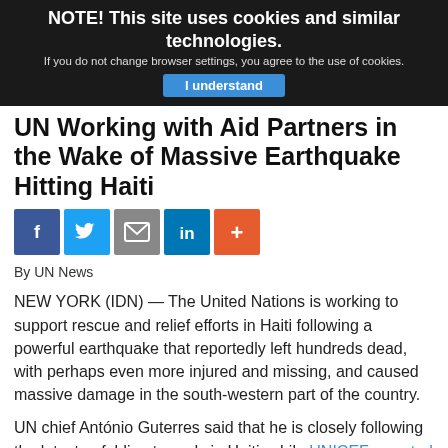NOTE! This site uses cookies and similar technologies.
If you do not change browser settings, you agree to the use of cookies.
I understand
UN Working with Aid Partners in the Wake of Massive Earthquake Hitting Haiti
[Figure (other): Social sharing buttons: Facebook, Twitter, Email, LinkedIn, More (+)]
By UN News
NEW YORK (IDN) — The United Nations is working to support rescue and relief efforts in Haiti following a powerful earthquake that reportedly left hundreds dead, with perhaps even more injured and missing, and caused massive damage in the south-western part of the country.
UN chief António Guterres said that he is closely following the latest unfolding tragedy in Haiti, while UNICEF reported that its teams already on the ground are making assessments to prioritize urgent needs and provide